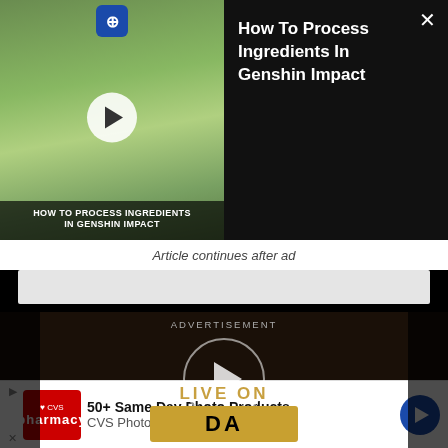[Figure (screenshot): Video thumbnail showing game characters (Genshin Impact) in a green field with a play button overlay and title overlay 'HOW TO PROCESS INGREDIENTS IN GENSHIN IMPACT']
How To Process Ingredients In Genshin Impact
Article continues after ad
[Figure (screenshot): Advertisement video player with dark background, circular play button, text 'LIVE ON' and a gold 'DA' banner at the bottom]
[Figure (screenshot): CVS Pharmacy banner ad: '50+ Same Day Photo Products' and 'CVS Photo' with CVS logo and blue navigation arrow]